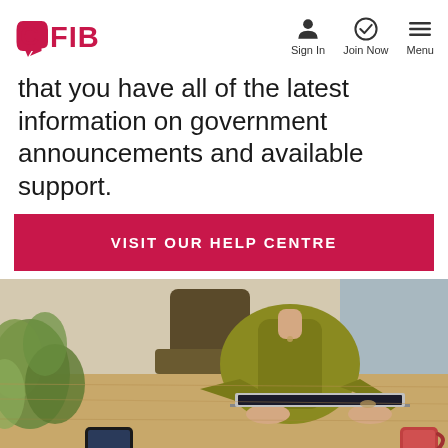CFIB — Sign In, Join Now, Menu
that you have all of the latest information on government announcements and available support.
VISIT OUR HELP CENTRE
[Figure (photo): Overhead view of a person in a yellow-green shirt working at a wooden desk with a laptop, smartphone, plant, and coffee mug]